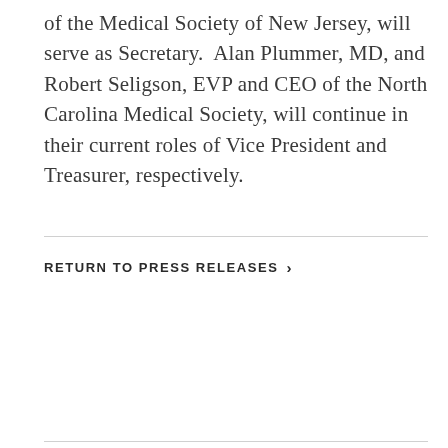of the Medical Society of New Jersey, will serve as Secretary.  Alan Plummer, MD, and Robert Seligson, EVP and CEO of the North Carolina Medical Society, will continue in their current roles of Vice President and Treasurer, respectively.
RETURN TO PRESS RELEASES ›